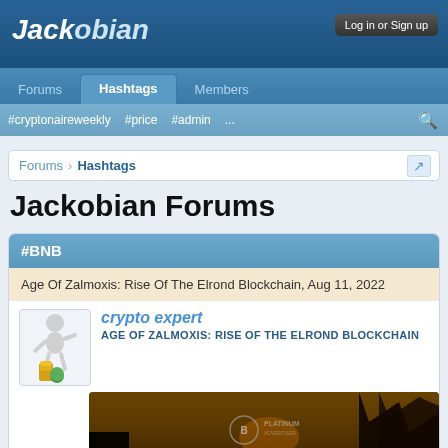Jackobian — Log in or Sign up
#BNB
Age Of Zalmoxis: Rise Of The Elrond Blockchain, Aug 11, 2022
crypto expert
AGE OF ZALMOXIS: RISE OF THE ELROND BLOCKCHAIN
[Figure (screenshot): Dark cinematic image with text AGE OF ZALMOXIS: RISE OF THE ELROND BLOCKCHAIN and a Platinum logo watermark]